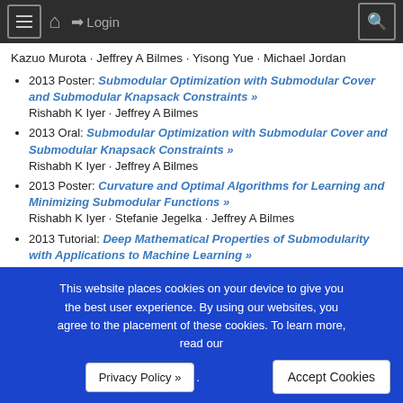☰  🏠  ➔ Login  🔍
Kazuo Murota · Jeffrey A Bilmes · Yisong Yue · Michael Jordan
2013 Poster: Submodular Optimization with Submodular Cover and Submodular Knapsack Constraints »
Rishabh K Iyer · Jeffrey A Bilmes
2013 Oral: Submodular Optimization with Submodular Cover and Submodular Knapsack Constraints »
Rishabh K Iyer · Jeffrey A Bilmes
2013 Poster: Curvature and Optimal Algorithms for Learning and Minimizing Submodular Functions »
Rishabh K Iyer · Stefanie Jegelka · Jeffrey A Bilmes
2013 Tutorial: Deep Mathematical Properties of Submodularity with Applications to Machine Learning »
Jeffrey A Bilmes
This website places cookies on your device to give you the best user experience. By using our websites, you agree to the placement of these cookies. To learn more, read our Privacy Policy ».